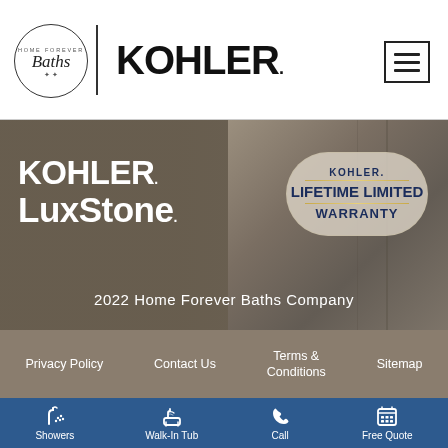[Figure (logo): Home Forever Baths circular logo with script text 'Baths' and stars decoration]
[Figure (logo): KOHLER. brand logo in bold black text]
[Figure (logo): Hamburger menu icon (three horizontal lines in a square border)]
[Figure (photo): Hero banner with KOHLER LuxStone branding over a gray/taupe background with towel texture. Includes Kohler Lifetime Limited Warranty badge.]
2022 Home Forever Baths Company
Privacy Policy
Contact Us
Terms & Conditions
Sitemap
Showers
Walk-In Tub
Call
Free Quote